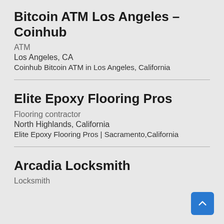Bitcoin ATM Los Angeles – Coinhub
ATM
Los Angeles, CA
Coinhub Bitcoin ATM in Los Angeles, California
Elite Epoxy Flooring Pros
Flooring contractor
North Highlands, California
Elite Epoxy Flooring Pros | Sacramento,California
Arcadia Locksmith
Locksmith